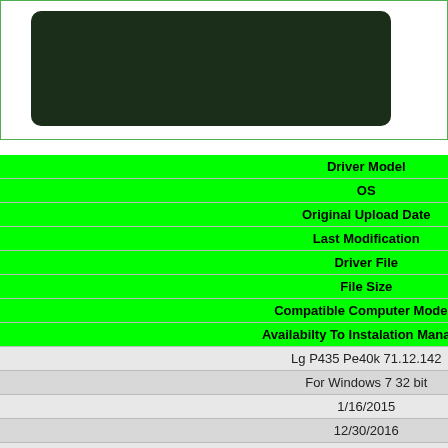[Figure (screenshot): Dark green/black rounded rectangle image placeholder on white background with green border]
| Driver Model | OS | Original Upload Date | Last Modification | Driver File | File Size | Compatible Computer Models | Availabilty To Instalation Manager |
| --- | --- | --- | --- | --- | --- | --- | --- |
| Lg P435 Pe40k 71.12.142 |
| For Windows 7 32 bit |
| 1/16/2015 |
| 12/30/2016 |
| all_drivers-71.12.142.exe |
| 214kb |
| ony SVF15215SNB, SIE 840_P3, Lenovo ThinkCentre A58, IBM 2P5U, NEC PC-MY21AESED983, Fujitsu PRIMERGY TX140 S1, KONTRON 886LCD-M/Flex, HP RF772AA-ABF t3611.f, HP 23- |
|  |